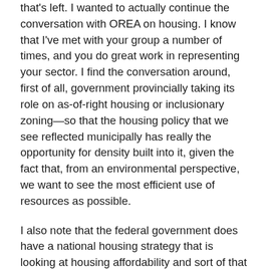that's left. I wanted to actually continue the conversation with OREA on housing. I know that I've met with your group a number of times, and you do great work in representing your sector. I find the conversation around, first of all, government provincially taking its role on as-of-right housing or inclusionary zoning—so that the housing policy that we see reflected municipally has really the opportunity for density built into it, given the fact that, from an environmental perspective, we want to see the most efficient use of resources as possible.
I also note that the federal government does have a national housing strategy that is looking at housing affordability and sort of that supply side of making sure that there are investments for new units for affordable housing. I'm wondering if you believe, in the continuum and in the spectrum of housing that's needed, that we need to see more being done provincially on the housing affordability side, because that would ease some pressure on prices and that average housing price, which you've rightfully said in